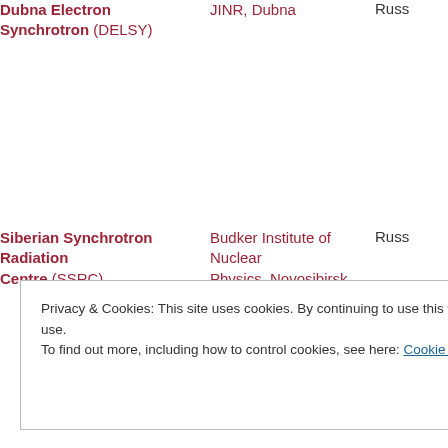| Name | Institution | Country |
| --- | --- | --- |
| Dubna Electron Synchrotron (DELSY) | JINR, Dubna | Russ… |
| Siberian Synchrotron Radiation Centre (SSRC) | Budker Institute of Nuclear Physics, Novosibirsk | Russ… |
Privacy & Cookies: This site uses cookies. By continuing to use this website, you agree to their use.
To find out more, including how to control cookies, see here: Cookie Policy